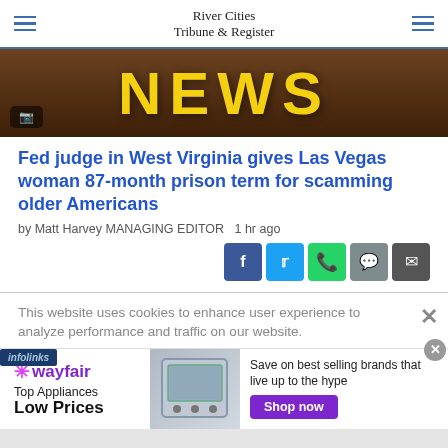River Cities Tribune & Register
[Figure (photo): Dark brown wood-textured banner image with large yellow bold 'NEWS' text and a camera icon badge in the bottom left corner]
Fed judge in West Virginia gives Las Vegas woman 87-month prison term for scamming older Americans
by Matt Harvey MANAGING EDITOR  1 hr ago
[Figure (infographic): Social share buttons: Facebook (blue), Twitter (light blue), WhatsApp (green), Chat (gray), Email (dark gray)]
This website uses cookies to enhance user experience to analyze performance and traffic on our website.
[Figure (infographic): Wayfair advertisement: Top Appliances Low Prices, Save on best selling brands that live up to the hype, Shop now button]